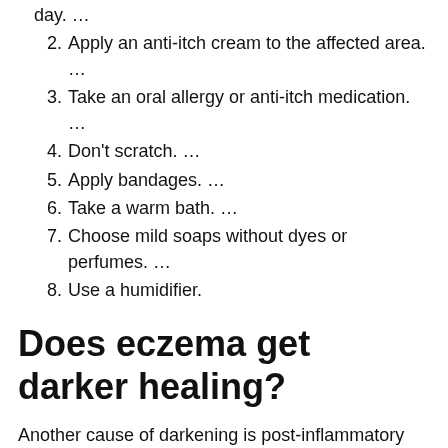day. …
2. Apply an anti-itch cream to the affected area. …
3. Take an oral allergy or anti-itch medication. …
4. Don't scratch. …
5. Apply bandages. …
6. Take a warm bath. …
7. Choose mild soaps without dyes or perfumes. …
8. Use a humidifier.
Does eczema get darker healing?
Another cause of darkening is post-inflammatory pigmentation, which can happen after the eczema flare has settled